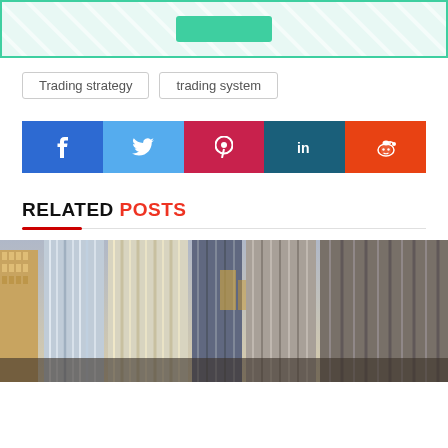[Figure (illustration): Top banner with teal/mint diagonal stripes background and a green button in the center]
Trading strategy
trading system
[Figure (infographic): Social share buttons row: Facebook (blue), Twitter (light blue), Pinterest (red/pink), LinkedIn (dark teal), Reddit (orange)]
RELATED POSTS
[Figure (photo): Photo of tall city skyscrapers and glass office buildings viewed from below]